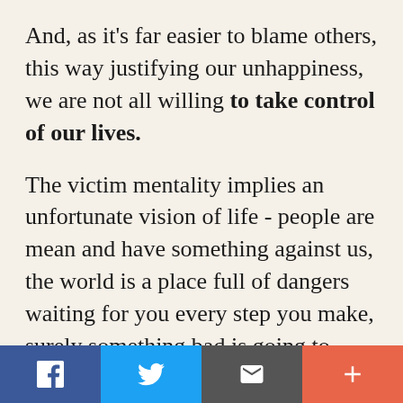And, as it's far easier to blame others, this way justifying our unhappiness, we are not all willing to take control of our lives.
The victim mentality implies an unfortunate vision of life - people are mean and have something against us, the world is a place full of dangers waiting for you every step you make, surely something bad is going to happen, only others are lucky and so on. It's as if the victim attracts in their life people and circumstances to validate their status - we can mention accepting abusive relationships, choices that are
[Figure (other): Social share bar with four buttons: Facebook (blue), Twitter (light blue), Email/envelope (dark gray), and Plus/add (coral red)]